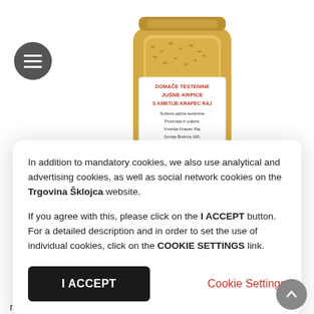[Figure (photo): A glass jar filled with small yellow pasta pieces (soup pasta / juene krpice). The jar has a white label with red and black text reading: DOMACE TESTENINE, JUSNE KRPICE, S KMETIJE KRAPEC RAJ, Susene jajcne testenine, Proizvaja in pakira: Kmetija Krapec Raj, Gornja Bistrica 165, 9232 Crensovci]
In addition to mandatory cookies, we also use analytical and advertising cookies, as well as social network cookies on the Trgovina Šklojca website.

If you agree with this, please click on the I ACCEPT button. For a detailed description and in order to set the use of individual cookies, click on the COOKIE SETTINGS link.
I ACCEPT
Cookie Settings
neverjetno raznolike in vedno dobre. Nič čudnega, da